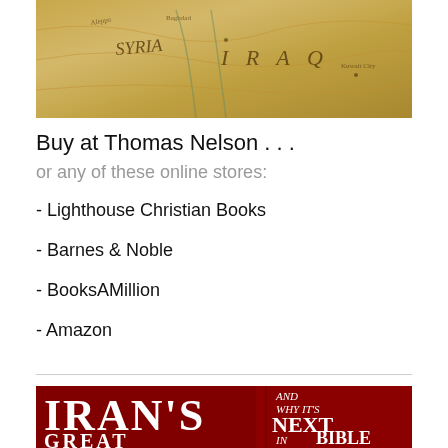[Figure (map): Partial view of a vintage/antique-style map showing Syria and Iraq regions with aged yellowish-brown coloring]
Buy at Thomas Nelson . . .
or any of these online stores:
- Lighthouse Christian Books
- Barnes & Noble
- BooksAMillion
- Amazon
[Figure (photo): Book cover for Iran's Great Invasion showing red background with large white serif title text reading IRAN'S GREAT INVASION and subtitle AND WHY IT'S NEXT IN BIBLE]